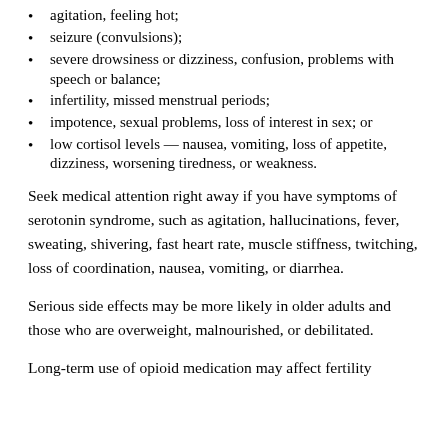agitation, feeling hot;
seizure (convulsions);
severe drowsiness or dizziness, confusion, problems with speech or balance;
infertility, missed menstrual periods;
impotence, sexual problems, loss of interest in sex; or
low cortisol levels — nausea, vomiting, loss of appetite, dizziness, worsening tiredness, or weakness.
Seek medical attention right away if you have symptoms of serotonin syndrome, such as agitation, hallucinations, fever, sweating, shivering, fast heart rate, muscle stiffness, twitching, loss of coordination, nausea, vomiting, or diarrhea.
Serious side effects may be more likely in older adults and those who are overweight, malnourished, or debilitated.
Long-term use of opioid medication may affect fertility